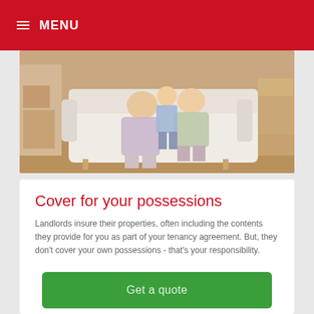☰ MENU
[Figure (photo): Family sitting on a white sofa in a living room with moving boxes; a child climbing on an adult's lap]
Cover for your possessions
Landlords insure their properties, often including the contents they provide for you as part of your tenancy agreement. But, they don't cover your own possessions - that's your responsibility.
Get a quote